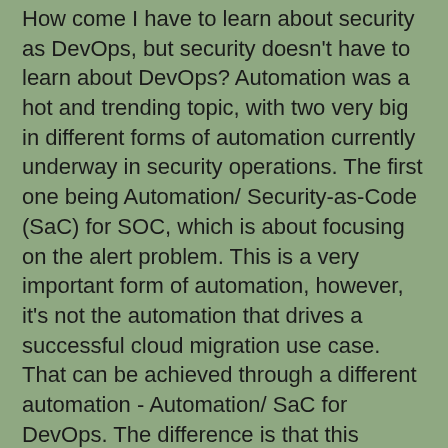How come I have to learn about security as DevOps, but security doesn't have to learn about DevOps? Automation was a hot and trending topic, with two very big in different forms of automation currently underway in security operations. The first one being Automation/ Security-as-Code (SaC) for SOC, which is about focusing on the alert problem. This is a very important form of automation, however, it's not the automation that drives a successful cloud migration use case. That can be achieved through a different automation - Automation/ SaC for DevOps. The difference is that this automation is targeted at cloud security deployment, configuration and DevOps workflow, and not security operation workflow and operations.
At the sidelines of the event, Trend Micro also highlighted the tremendous growth they have achieved in India in the last two years, especially in its cloud and endpoint security business. The company has increased its team size to address the cloud requirements and has launched Trend Micro Cloud One – Network Security this year, that delivers simple and comprehensive protection of virtual private clouds at scale to support compliance requirements, with zero disruption to applications or traffic. The company will